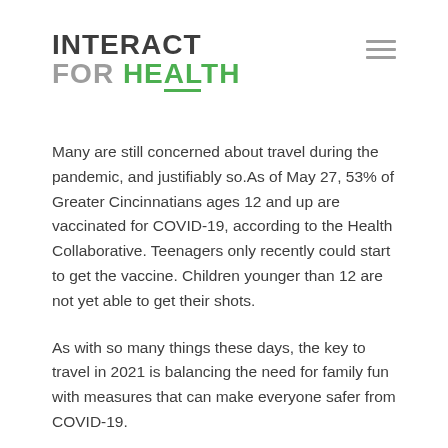INTERACT FOR HEALTH
Many are still concerned about travel during the pandemic, and justifiably so. As of May 27, 53% of Greater Cincinnatians ages 12 and up are vaccinated for COVID-19, according to the Health Collaborative. Teenagers only recently could start to get the vaccine. Children younger than 12 are not yet able to get their shots.
As with so many things these days, the key to travel in 2021 is balancing the need for family fun with measures that can make everyone safer from COVID-19.
First, get vaccinated if you haven't already. If possible, get the final shot at least two weeks prior to your departure.
Second, go outside. Outdoor activities, such as hiking or